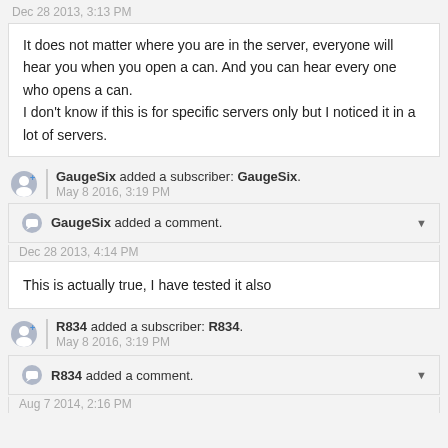Dec 28 2013, 3:13 PM
It does not matter where you are in the server, everyone will hear you when you open a can. And you can hear every one who opens a can.
I don't know if this is for specific servers only but I noticed it in a lot of servers.
GaugeSix added a subscriber: GaugeSix.
May 8 2016, 3:19 PM
GaugeSix added a comment.
Dec 28 2013, 4:14 PM
This is actually true, I have tested it also
R834 added a subscriber: R834.
May 8 2016, 3:19 PM
R834 added a comment.
Aug 7 2014, 2:16 PM